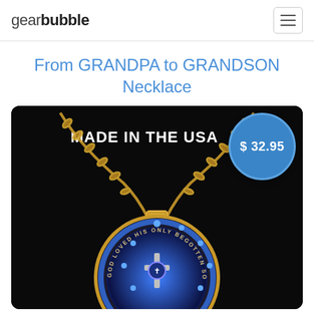gearbubble
From GRANDPA to GRANDSON Necklace
[Figure (photo): Product photo of a gold necklace with a circular pendant on a black background. The pendant features blue and silver decorative elements with text reading 'GOD LOVED HIS ONLY BEGOTTEN SO...' around the edge. Text 'MADE IN THE USA' appears at the top of the image. A blue circular price badge showing '$ 32.95' is overlaid in the top right corner.]